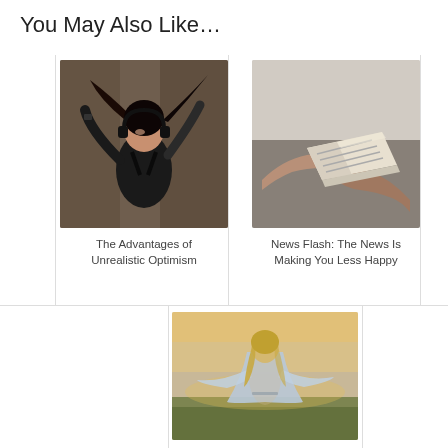You May Also Like…
[Figure (photo): Young woman with headphones dancing or moving energetically, wearing black top, hair flowing, outdoors with blurred background]
The Advantages of Unrealistic Optimism
[Figure (photo): Hands exchanging or holding folded paper money/newspaper in close-up, blurred background]
News Flash: The News Is Making You Less Happy
[Figure (photo): Blonde woman from behind wearing a flowing light blue garment, standing in a field at dusk/sunset, arms partly outstretched]